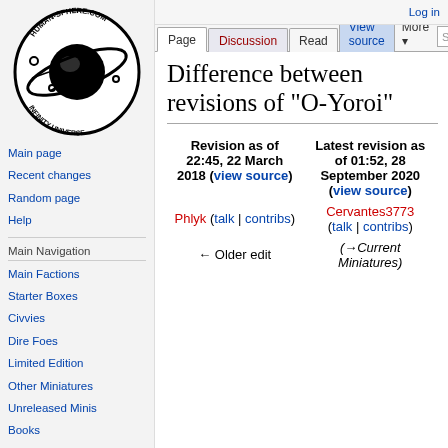Log in
[Figure (logo): Human-Sphere.com Infinity Universe circular logo with planet and orbital rings]
Main page
Recent changes
Random page
Help
Main Navigation
Main Factions
Starter Boxes
Civvies
Dire Foes
Limited Edition
Other Miniatures
Unreleased Minis
Books
Difference between revisions of "O-Yoroi"
| Revision as of 22:45, 22 March 2018 (view source) | Latest revision as of 01:52, 28 September 2020 (view source) |
| --- | --- |
| Phlyk (talk | contribs) | Cervantes3773 (talk | contribs) |
| ← Older edit | (→Current Miniatures) |